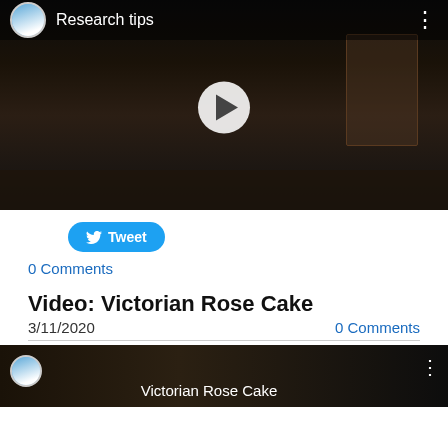[Figure (screenshot): YouTube-style video embed showing a woman in Victorian costume in a dark room, with channel name 'Research tips' in the top bar and a play button overlay.]
[Figure (screenshot): Tweet button (blue rounded rectangle with Twitter bird icon and 'Tweet' text)]
0 Comments
Video: Victorian Rose Cake
3/11/2020
0 Comments
[Figure (screenshot): Bottom portion of a video thumbnail with avatar, title 'Victorian Rose Cake', and three-dot menu icon on dark background.]